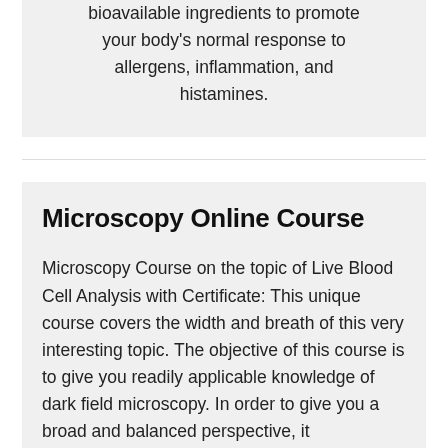bioavailable ingredients to promote your body's normal response to allergens, inflammation, and histamines.
Microscopy Online Course
Microscopy Course on the topic of Live Blood Cell Analysis with Certificate: This unique course covers the width and breath of this very interesting topic. The objective of this course is to give you readily applicable knowledge of dark field microscopy. In order to give you a broad and balanced perspective, it encompasses both the present medical view, the latest research as well as the pleomorphic view